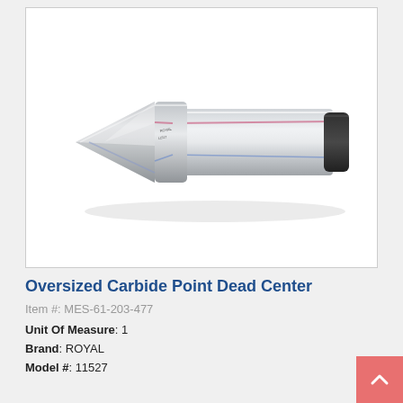[Figure (photo): Product photo of an Oversized Carbide Point Dead Center — a metallic silver lathe dead center with a sharp conical carbide tip on the left and a cylindrical shank with a black end cap on the right, displayed on a white background.]
Oversized Carbide Point Dead Center
Item #: MES-61-203-477
Unit Of Measure: 1
Brand: ROYAL
Model #: 11527